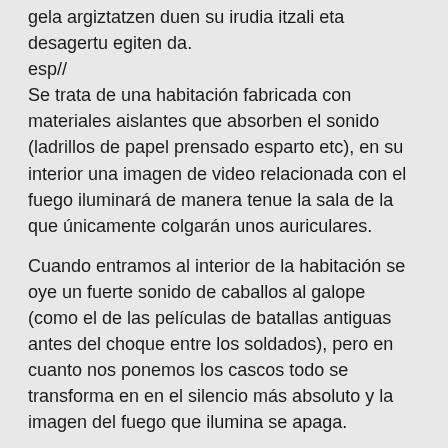gela argiztatzen duen su irudia itzali eta desagertu egiten da.
esp//
Se trata de una habitación fabricada con materiales aislantes que absorben el sonido (ladrillos de papel prensado esparto etc), en su interior una imagen de video relacionada con el fuego iluminará de manera tenue la sala de la que únicamente colgarán unos auriculares.
Cuando entramos al interior de la habitación se oye un fuerte sonido de caballos al galope (como el de las películas de batallas antiguas antes del choque entre los soldados), pero en cuanto nos ponemos los cascos todo se transforma en en el silencio más absoluto y la imagen del fuego que ilumina se apaga.
Eng//